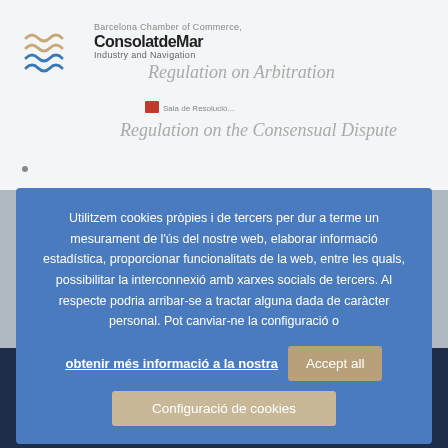[Figure (logo): Consolat de Mar logo with wave lines and Barcelona Chamber text]
Barcelona Chamber of Commerce, Industry and Navigation
Regulation on Arbitration
Regulation on the Consensual Dispute
Utilitzem cookies pròpies i de tercers per dur a terme un mesurament de l'ús del nostre web, elaborar informació estadística, proporcionar funcionalitats de la web, entre les quals, possibilitar la interconnexió amb xarxes socials de tercers. Al respecte podria arribar-se a tractar alguna dada de caràcter personal. Pot canviar-ne la configuració o
obtenir més informació a la nostra
Accept all
Configuració de cookies
Legal notice and privacy policy | Cookies policy